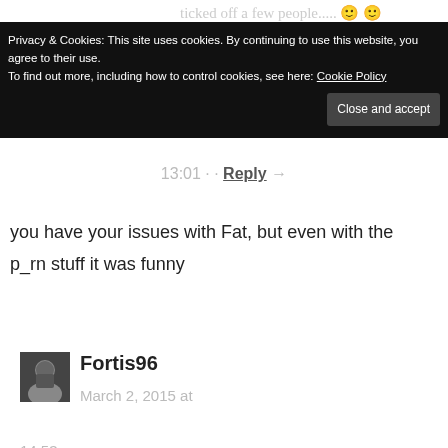ticked off a few people..... 🙂 🙂
Privacy & Cookies: This site uses cookies. By continuing to use this website, you agree to their use.
To find out more, including how to control cookies, see here: Cookie Policy
Close and accept
13:01 · · Reply →
you have your issues with Fat, but even with the p_rn stuff it was funny
Fortis96
March 2, 2015 at
14:53 · ·